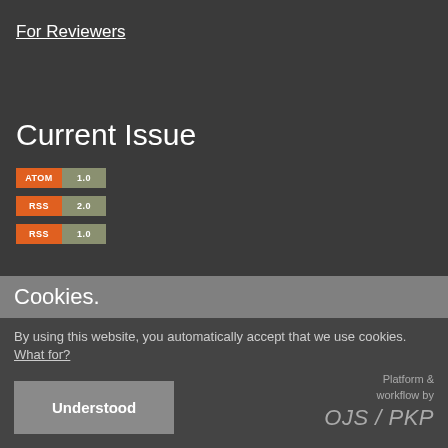For Reviewers
Current Issue
[Figure (other): Three feed badge icons: ATOM 1.0, RSS 2.0, RSS 1.0]
Cookies.
By using this website, you automatically accept that we use cookies. What for?
Understood
Platform & workflow by OJS / PKP